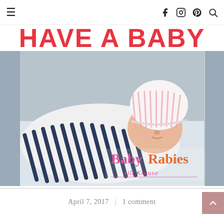≡  [social icons: f, instagram, pinterest, search]
HAVE A BABY
[Figure (photo): Newborn baby swaddled in a navy and white striped blanket, wearing a pink and white hospital hat, lying in a hospital bassinet. Baby Rabies logo with 'Jill Krause' signature overlaid on the bottom right of the image.]
April 7, 2017  |  1 comment